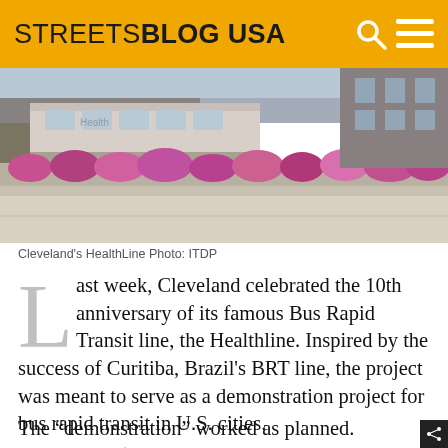STREETSBLOG USA
[Figure (photo): Street-level photo of Cleveland's HealthLine BRT station with flower planters along a concrete median and a bus visible in the background]
Cleveland's HealthLine Photo: ITDP
Last week, Cleveland celebrated the 10th anniversary of its famous Bus Rapid Transit line, the Healthline. Inspired by the success of Curitiba, Brazil's BRT line, the project was meant to serve as a demonstration project for bus rapid transit in U.S. cities.
The “demonstration” worked as planned. Cleveland’s $200-million, nine-mile project has inspired cities